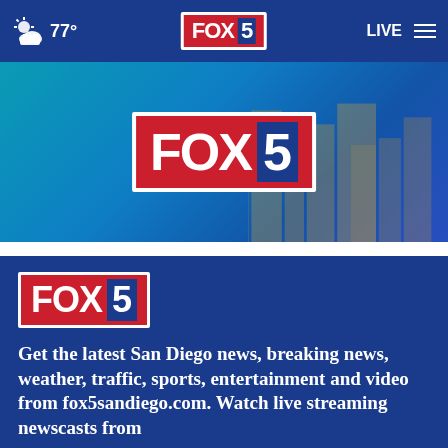77° FOX 5 LIVE
[Figure (screenshot): FOX 5 San Diego banner with large FOX 5 logo on blue/teal gradient background with city skyline]
[Figure (logo): FOX 5 logo on dark blue background]
Get the latest San Diego news, breaking news, weather, traffic, sports, entertainment and video from fox5sandiego.com. Watch live streaming newscasts from